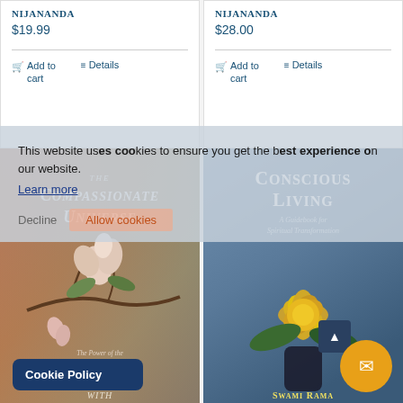Nijananda
$19.99
Add to cart
Details
Nijananda
$28.00
Add to cart
Details
[Figure (photo): Book cover: The Compassionate Universe - The Power of the Individual to Heal the Environment, with floral imagery on warm earthy background]
[Figure (photo): Book cover: Conscious Living - A Guidebook for Spiritual Transformation by Swami Rama, with yellow lotus flower on blue background]
This website uses cookies to ensure you get the best experience on our website.
Learn more
Decline
Allow cookies
Cookie Policy